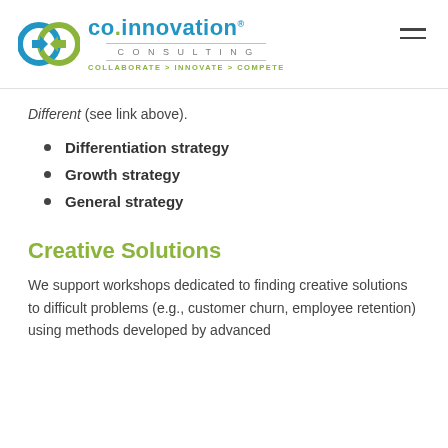co.innovation CONSULTING — COLLABORATE > INNOVATE > COMPETE
Different (see link above).
Differentiation strategy
Growth strategy
General strategy
Creative Solutions
We support workshops dedicated to finding creative solutions to difficult problems (e.g., customer churn, employee retention) using methods developed by advanced